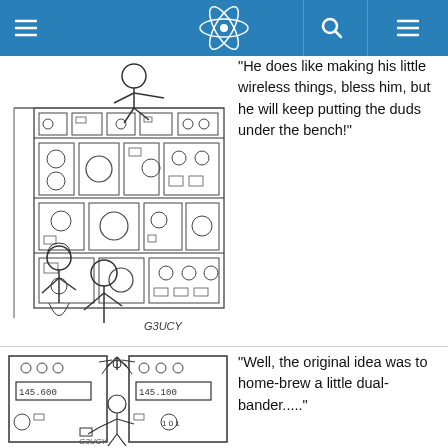Navigation header with hamburger menu, atomic logo, search icon, and menu icon
[Figure (illustration): Hand-drawn cartoon of a person at a cluttered electronics workbench stacked with radio equipment, signed G3UCY. Two figures visible below looking up at the bench.]
He does like making his little wireless things, bless him, but he will keep putting the duds under the bench!"
[Figure (illustration): Hand-drawn cartoon of a person working between two large electronic cabinets showing frequency displays reading 145.600 and 145.100, with sparks flying, signed G3UCY.]
"Well, the original idea was to home-brew a little dual-bander....."